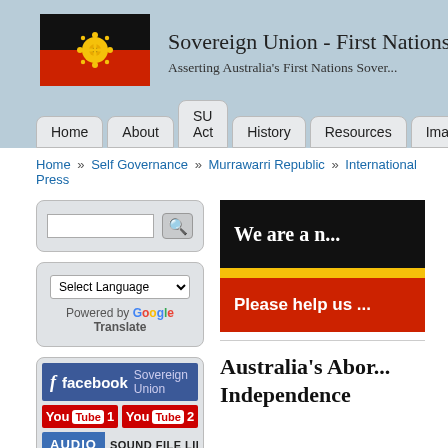[Figure (logo): Aboriginal flag logo with circular design - black top half, red bottom half with yellow circle in center]
Sovereign Union - First Nations ...
Asserting Australia's First Nations Sover...
Home | About | SU Act | History | Resources | Images | Do...
Home » Self Governance » Murrawarri Republic » International Press
[Figure (screenshot): Search input box with search button icon]
[Figure (screenshot): Google Translate language selector with Select Language dropdown]
[Figure (screenshot): Social media links: Facebook Sovereign Union, YouTube 1, YouTube 2, Audio Sound File Library]
[Figure (screenshot): Banner image with text 'We are a n...' on black/yellow/red Aboriginal flag colors with 'Please help us' text]
Australia's Abor... Independence